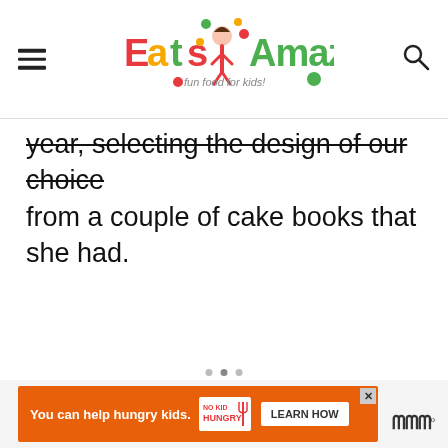Eats Amazing — fun food for kids!
year, selecting the design of our choice from a couple of cake books that she had.
[Figure (infographic): Orange advertisement banner: 'You can help hungry kids.' with No Kid Hungry logo and LEARN HOW button, with close X button. MWC logo to the right.]